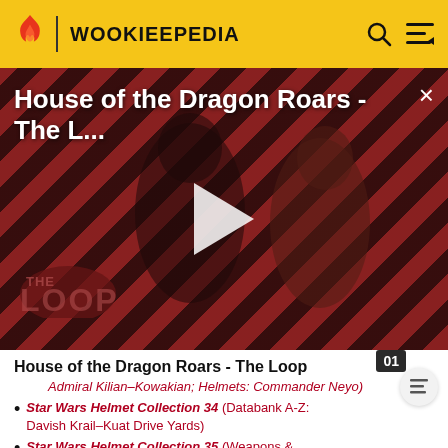WOOKIEEPEDIA
[Figure (screenshot): Video thumbnail for 'House of the Dragon Roars - The L...' with diagonal stripe background in red and dark tones, showing two characters, a play button in the center, and THE LOOP logo at bottom left. Close button (×) at top right.]
House of the Dragon Roars - The Loop
Admiral Kilian–Kowakian; Helmets: Commander Neyo)
Star Wars Helmet Collection 34 (Databank A-Z: Davish Krail–Kuat Drive Yards)
Star Wars Helmet Collection 35 (Weapons &